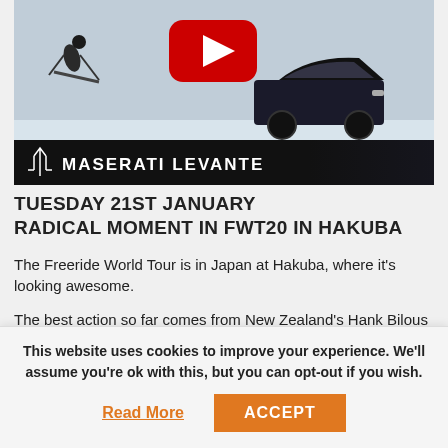[Figure (screenshot): Maserati Levante promotional video thumbnail showing a skier being towed by a Maserati SUV on a snowy surface, with a YouTube play button overlay and Maserati Levante branding banner at bottom]
TUESDAY 21ST JANUARY RADICAL MOMENT IN FWT20 IN HAKUBA
The Freeride World Tour is in Japan at Hakuba, where it's looking awesome.
The best action so far comes from New Zealand's Hank Bilous who took second place at the event ?
Hank Bilous — the Best Perfo...
This website uses cookies to improve your experience. We'll assume you're ok with this, but you can opt-out if you wish.